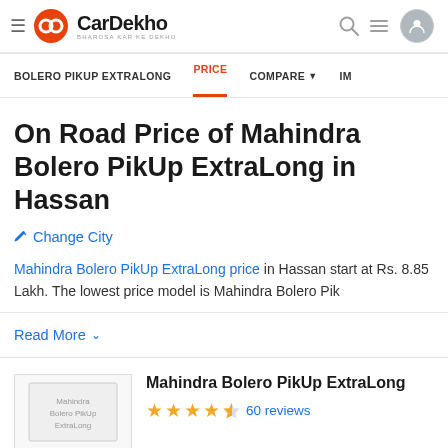CarDekho - BHAROSA KAR KE DEKHO
BOLERO PIKUP EXTRALONG | PRICE | COMPARE | IM
On Road Price of Mahindra Bolero PikUp ExtraLong in Hassan
Change City
Mahindra Bolero PikUp ExtraLong price in Hassan start at Rs. 8.85 Lakh. The lowest price model is Mahindra Bolero Pik
Read More
[Figure (photo): Mahindra Bolero PikUp ExtraLong car image placeholder]
Mahindra Bolero PikUp ExtraLong
60 reviews (4.5 stars)